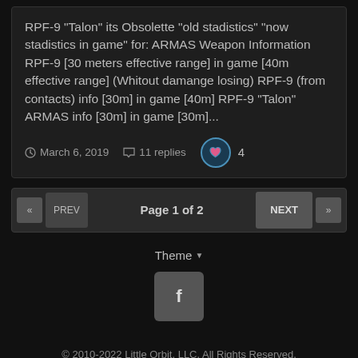RPF-9 "Talon" its Obsolette "old stadistics" "now stadistics in game" for: ARMAS Weapon Information RPF-9 [30 meters effective range] in game [40m effective range] (Whitout damange losing) RPF-9 (from contacts) info [30m] in game [40m] RPF-9 "Talon" ARMAS info [30m] in game [30m]...
March 6, 2019  |  11 replies  |  4 likes
Page 1 of 2
Theme
© 2010-2022 Little Orbit, LLC. All Rights Reserved.
Powered by Invision Community